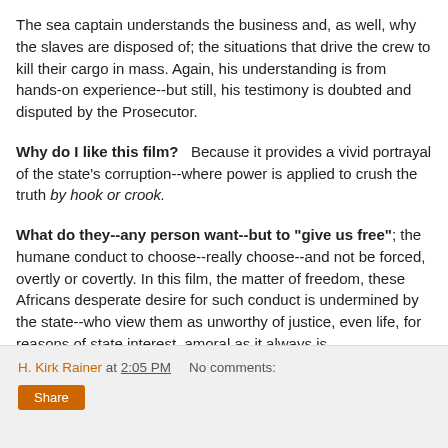The sea captain understands the business and, as well, why the slaves are disposed of; the situations that drive the crew to kill their cargo in mass. Again, his understanding is from hands-on experience--but still, his testimony is doubted and disputed by the Prosecutor.
Why do I like this film?   Because it provides a vivid portrayal of the state's corruption--where power is applied to crush the truth by hook or crook.
What do they--any person want--but to "give us free"; the humane conduct to choose--really choose--and not be forced, overtly or covertly. In this film, the matter of freedom, these Africans desperate desire for such conduct is undermined by the state--who view them as unworthy of justice, even life, for reasons of state interest, amoral as it always is.
H. Kirk Rainer at 2:05 PM   No comments:   Share